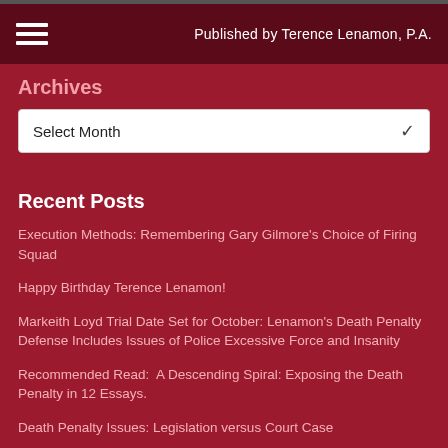Published by Terence Lenamon, P.A.
Archives
Select Month
Recent Posts
Execution Methods: Remembering Gary Gilmore's Choice of Firing Squad
Happy Birthday Terence Lenamon!
Markeith Loyd Trial Date Set for October: Lenamon's Death Penalty Defense Includes Issues of Police Excessive Force and Insanity
Recommended Read: A Descending Spiral: Exposing the Death Penalty in 12 Essays.
Death Penalty Issues: Legislation versus Court Case